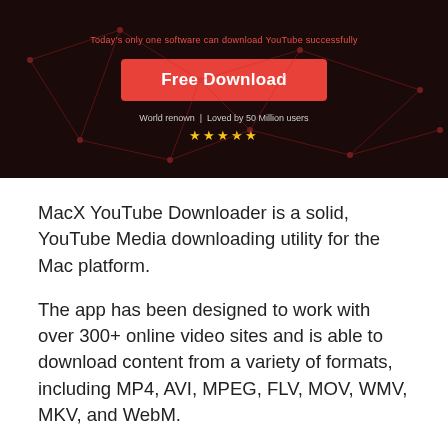[Figure (screenshot): Dark-themed banner for MacX YouTube Downloader showing a 'Free Download' red button, tagline 'World renown | Loved by 50 Million users', and five gold stars, with a network/mesh graphic background in dark red.]
MacX YouTube Downloader is a solid, YouTube Media downloading utility for the Mac platform.
The app has been designed to work with over 300+ online video sites and is able to download content from a variety of formats, including MP4, AVI, MPEG, FLV, MOV, WMV, MKV, and WebM.
Key Features include:
Supports content from FaceBook, YouTube, Vimeo, Vevo, Dailymotion and other 300+ online video sites.